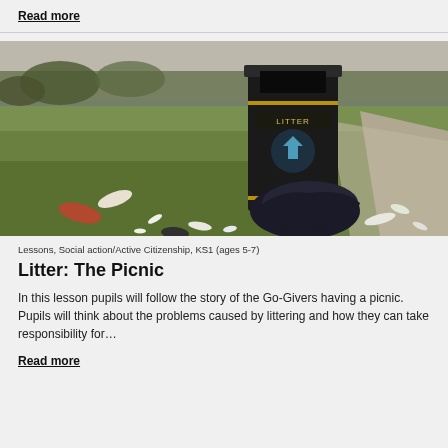Read more
[Figure (photo): A dark litter bin in a park with litter scattered on the grass around it, including a black bin bag. A footpath curves in the background.]
Lessons, Social action/Active Citizenship, KS1 (ages 5-7)
Litter: The Picnic
In this lesson pupils will follow the story of the Go-Givers having a picnic.  Pupils will think about the problems caused by littering and how they can take responsibility for…
Read more